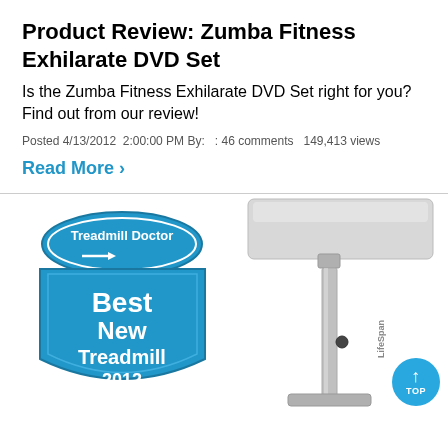Product Review: Zumba Fitness Exhilarate DVD Set
Is the Zumba Fitness Exhilarate DVD Set right for you? Find out from our review!
Posted 4/13/2012  2:00:00 PM By:   : 46 comments   149,413 views
Read More ›
[Figure (illustration): Treadmill Doctor Best New Treadmill 2012 badge (blue shield shape with Treadmill Doctor logo at top and text Best New Treadmill 2012) on the left, and a LifeSpan treadmill desk/standing desk product on the right. A blue circular TOP button appears in the bottom right corner.]